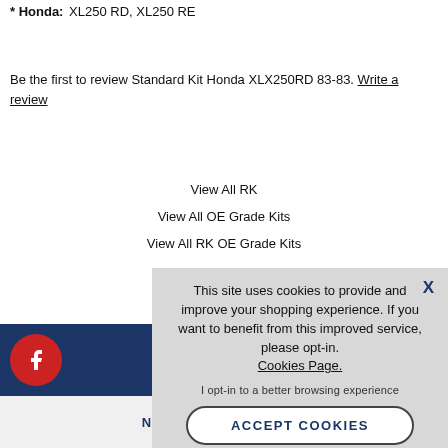Honda: XL250 RD, XL250 RE
Be the first to review Standard Kit Honda XLX250RD 83-83. Write a review
View All RK
View All OE Grade Kits
View All RK OE Grade Kits
[Figure (infographic): Cookie consent overlay with message about cookies, opt-in link, and Accept Cookies button]
NEWSLETTER SIGN UP